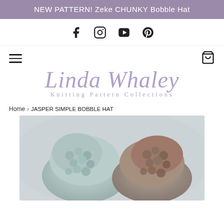NEW PATTERN! Zeke CHUNKY Bobble Hat
[Figure (logo): Social media icons: Facebook, Instagram, YouTube, Pinterest]
[Figure (logo): Linda Whaley Knitting Pattern Collections logo with cursive script and spaced lettering]
Home › JASPER SIMPLE BOBBLE HAT
[Figure (photo): Close-up photo of two knitted bobble hats in grey-blue and brown/taupe tones, textured bobble stitch visible]